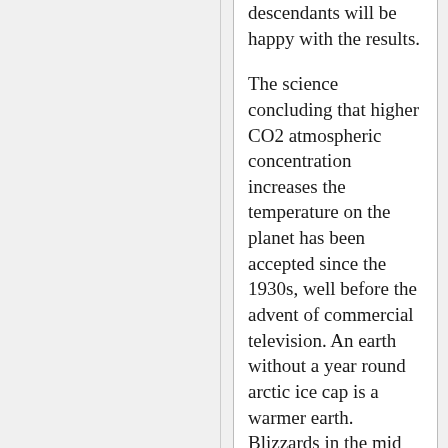descendants will be happy with the results.
The science concluding that higher CO2 atmospheric concentration increases the temperature on the planet has been accepted since the 1930s, well before the advent of commercial television. An earth without a year round arctic ice cap is a warmer earth. Blizzards in the mid Atlantic states and snow in Dallas don't indicate much about planet's average